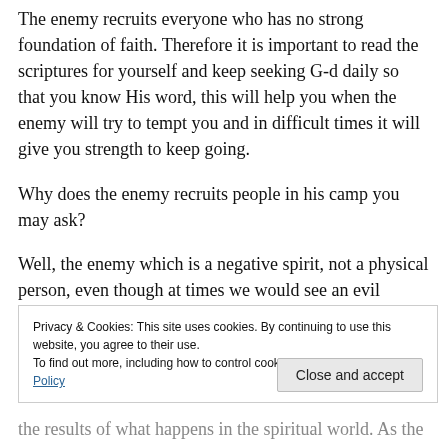The enemy recruits everyone who has no strong foundation of faith. Therefore it is important to read the scriptures for yourself and keep seeking G-d daily so that you know His word, this will help you when the enemy will try to tempt you and in difficult times it will give you strength to keep going.
Why does the enemy recruits people in his camp you may ask?
Well, the enemy which is a negative spirit, not a physical person, even though at times we would see an evil person
Privacy & Cookies: This site uses cookies. By continuing to use this website, you agree to their use.
To find out more, including how to control cookies, see here: Cookie Policy
Close and accept
the results of what happens in the spiritual world. As the